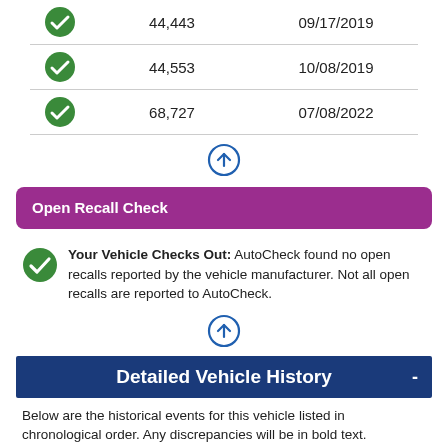|  | Mileage | Date |
| --- | --- | --- |
| ✓ | 44,443 | 09/17/2019 |
| ✓ | 44,553 | 10/08/2019 |
| ✓ | 68,727 | 07/08/2022 |
[Figure (other): Blue circle with up arrow button]
Open Recall Check
Your Vehicle Checks Out: AutoCheck found no open recalls reported by the vehicle manufacturer. Not all open recalls are reported to AutoCheck.
[Figure (other): Blue circle with up arrow button]
Detailed Vehicle History
Below are the historical events for this vehicle listed in chronological order. Any discrepancies will be in bold text.
Report From Date: 09/01/2022 01:11:15 EST